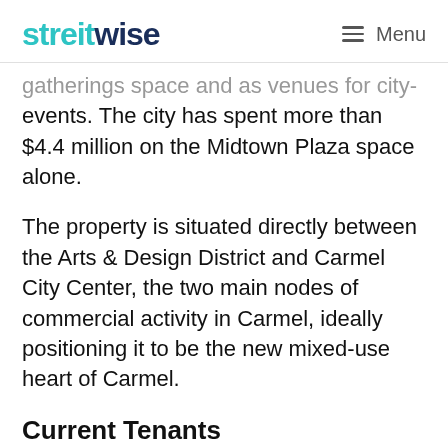streitwise — Menu
gatherings space and as venues for city-wide events. The city has spent more than $4.4 million on the Midtown Plaza space alone.
The property is situated directly between the Arts & Design District and Carmel City Center, the two main nodes of commercial activity in Carmel, ideally positioning it to be the new mixed-use heart of Carmel.
Current Tenants
The Allied Building is over over 94% leased to five tenants: